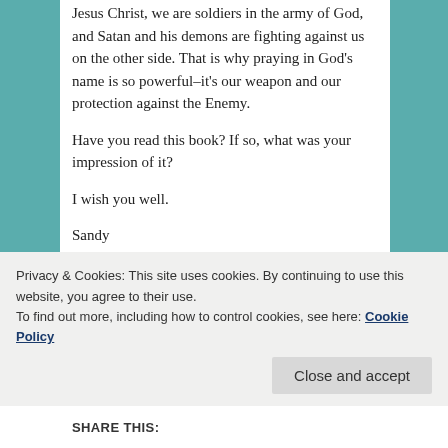Jesus Christ, we are soldiers in the army of God, and Satan and his demons are fighting against us on the other side. That is why praying in God's name is so powerful–it's our weapon and our protection against the Enemy.
Have you read this book? If so, what was your impression of it?
I wish you well.
Sandy
Please enter your email address on the form located on the right sidebar to sign up to receive posts every
Privacy & Cookies: This site uses cookies. By continuing to use this website, you agree to their use.
To find out more, including how to control cookies, see here: Cookie Policy
Close and accept
SHARE THIS: